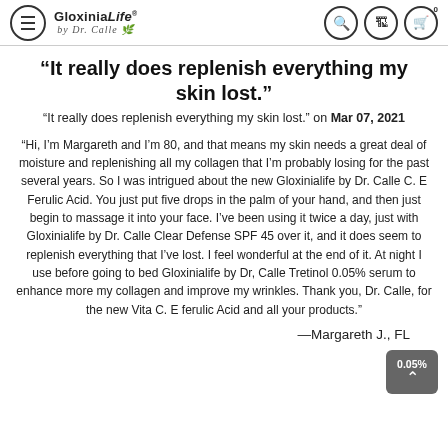GloxiniaLife® by Dr. Calle — navigation bar with hamburger menu, search, store, and cart icons
“It really does replenish everything my skin lost.”
“It really does replenish everything my skin lost.” on Mar 07, 2021
“Hi, I’m Margareth and I’m 80, and that means my skin needs a great deal of moisture and replenishing all my collagen that I’m probably losing for the past several years. So I was intrigued about the new Gloxinialife by Dr. Calle C. E Ferulic Acid. You just put five drops in the palm of your hand, and then just begin to massage it into your face. I’ve been using it twice a day, just with Gloxinialife by Dr. Calle Clear Defense SPF 45 over it, and it does seem to replenish everything that I’ve lost. I feel wonderful at the end of it. At night I use before going to bed Gloxinialife by Dr, Calle Tretinol 0.05% serum to enhance more my collagen and improve my wrinkles. Thank you, Dr. Calle, for the new Vita C. E ferulic Acid and all your products.”
—Margareth J., FL